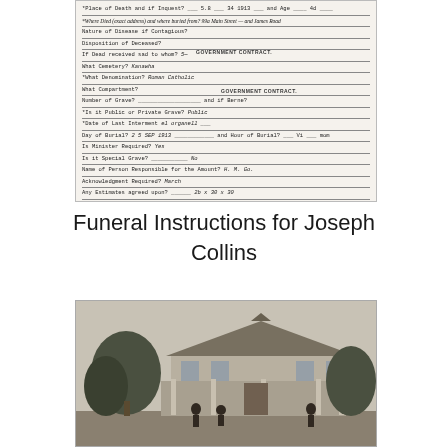[Figure (photo): Scanned historical funeral instruction form for Joseph Collins dated 25 Sep 1913, filled with handwritten entries, stamps reading GOVERNMENT CONTRACT, and signed by Ronald J. Chipper, Undertaker at the bottom.]
Funeral Instructions for Joseph Collins
[Figure (photo): Black and white photograph of a large house or building with a wide veranda, surrounded by trees, with people visible in front.]